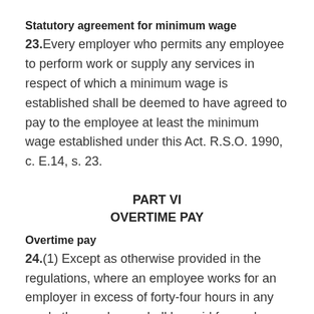Statutory agreement for minimum wage
23. Every employer who permits any employee to perform work or supply any services in respect of which a minimum wage is established shall be deemed to have agreed to pay to the employee at least the minimum wage established under this Act. R.S.O. 1990, c. E.14, s. 23.
PART VI
OVERTIME PAY
Overtime pay
24.(1) Except as otherwise provided in the regulations, where an employee works for an employer in excess of forty-four hours in any week, the employee shall be paid for each hour worked in excess of forty-four hours overtime pay